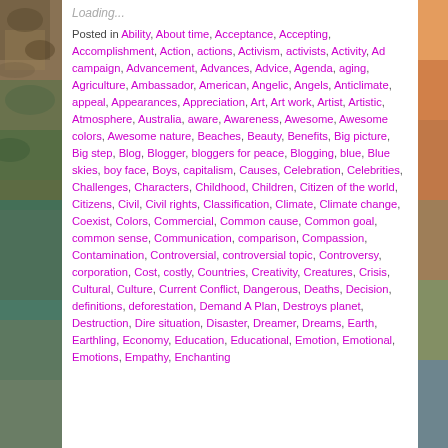Loading...
Posted in Ability, About time, Acceptance, Accepting, Accomplishment, Action, actions, Activism, activists, Activity, Ad campaign, Advancement, Advances, Advice, Agenda, aging, Agriculture, Ambassador, American, Angelic, Angels, Anticlimate, appeal, Appearances, Appreciation, Art, Art work, Artist, Artistic, Atmosphere, Australia, aware, Awareness, Awesome, Awesome colors, Awesome nature, Beaches, Beauty, Benefits, Big picture, Big step, Blog, Blogger, bloggers for peace, Blogging, blue, Blue skies, boy face, Boys, capitalism, Causes, Celebration, Celebrities, Challenges, Characters, Childhood, Children, Citizen of the world, Citizens, Civil, Civil rights, Classification, Climate, Climate change, Coexist, Colors, Commercial, Common cause, Common goal, common sense, Communication, comparison, Compassion, Contamination, Controversial, controversial topic, Controversy, corporation, Cost, costly, Countries, Creativity, Creatures, Crisis, Cultural, Culture, Current Conflict, Dangerous, Deaths, Decision, definitions, deforestation, Demand A Plan, Destroys planet, Destruction, Dire situation, Disaster, Dreamer, Dreams, Earth, Earthling, Economy, Education, Educational, Emotion, Emotional, Emotions, Empathy, Enchanting